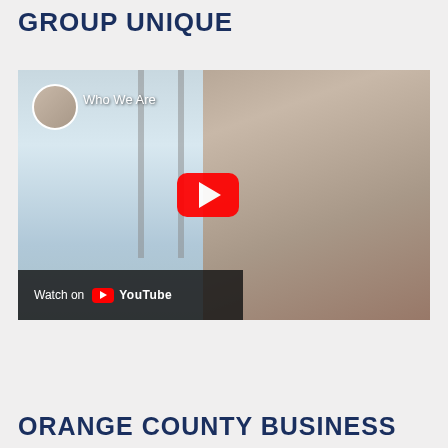GROUP UNIQUE
[Figure (screenshot): YouTube video thumbnail showing a man in a light blue shirt with 'Who We Are' title text, a circular avatar in top-left, a red YouTube play button in the center, and a 'Watch on YouTube' bar at the bottom left.]
ORANGE COUNTY BUSINESS